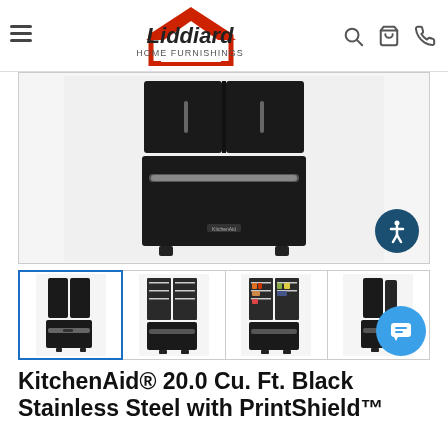Liddiard Home Furnishings
[Figure (photo): KitchenAid black stainless steel French door refrigerator, front view, shown cropped from top]
[Figure (photo): Thumbnail 1: KitchenAid black stainless steel refrigerator front view (selected)]
[Figure (photo): Thumbnail 2: KitchenAid refrigerator open, interior empty view]
[Figure (photo): Thumbnail 3: KitchenAid refrigerator open, interior with food]
[Figure (photo): Thumbnail 4: KitchenAid refrigerator slight angle view, partially cropped]
KitchenAid® 20.0 Cu. Ft. Black Stainless Steel with PrintShield™